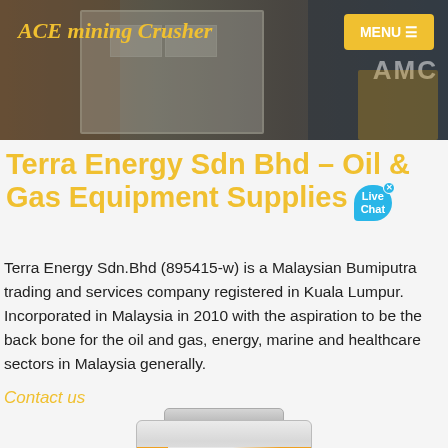ACE mining Crusher
[Figure (photo): Hero banner image showing industrial mining/crushing equipment and workers in an outdoor setting. AMC branding visible on right side.]
Terra Energy Sdn Bhd – Oil & Gas Equipment Supplies
Terra Energy Sdn.Bhd (895415-w) is a Malaysian Bumiputra trading and services company registered in Kuala Lumpur. Incorporated in Malaysia in 2010 with the aspiration to be the back bone for the oil and gas, energy, marine and healthcare sectors in Malaysia generally.
Contact us
[Figure (photo): Product image of a cylindrical industrial equipment piece (Metso brand), white/grey with orange stripe labeling.]